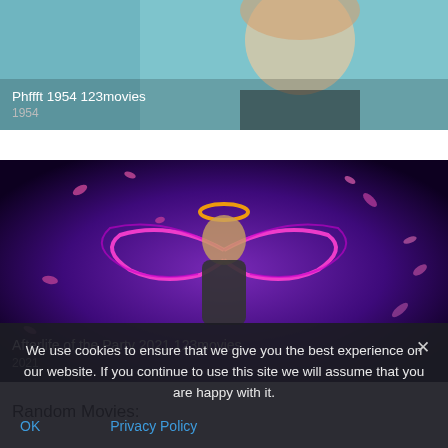[Figure (photo): Movie card thumbnail for Phffft 1954 - shows a blonde woman on teal/blue background]
Phffft 1954 123movies
1954
[Figure (photo): Movie card thumbnail for Afterlife of the Party 2021 - shows a woman with neon pink angel wings and halo on purple background]
Afterlife of the Party 2021 123movies
2021
Random Movies:
We use cookies to ensure that we give you the best experience on our website. If you continue to use this site we will assume that you are happy with it.
OK
Privacy Policy